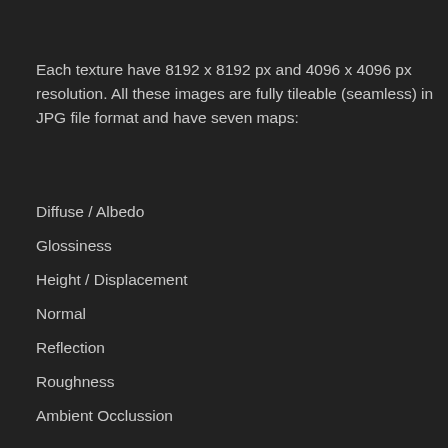Each texture have 8192 x 8192 px and 4096 x 4096 px resolution. All these images are fully tileable (seamless) in JPG file format and have seven maps:
Diffuse / Albedo
Glossiness
Height / Displacement
Normal
Reflection
Roughness
Ambient Occlussion
Metalness
JPG 8K
JPG 4K
Unreal Engine 4K
Unity 4K
3ds max V-Ray 4K